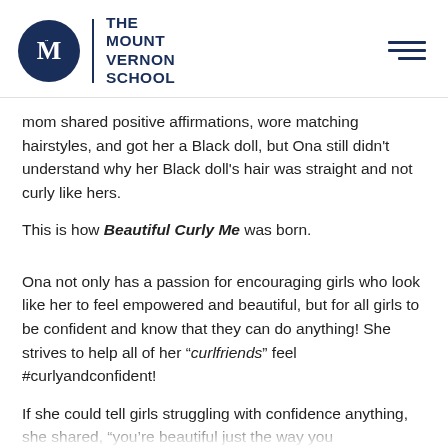THE MOUNT VERNON SCHOOL
mom shared positive affirmations, wore matching hairstyles, and got her a Black doll, but Ona still didn't understand why her Black doll's hair was straight and not curly like hers.
This is how Beautiful Curly Me was born.
Ona not only has a passion for encouraging girls who look like her to feel empowered and beautiful, but for all girls to be confident and know that they can do anything! She strives to help all of her “curlfriends” feel #curlyandconfident!
If she could tell girls struggling with confidence anything, she shared, “you’re beautiful just the way you